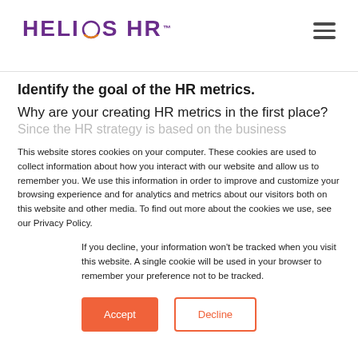HELIOS HR
Identify the goal of the HR metrics.
Why are your creating HR metrics in the first place?
This website stores cookies on your computer. These cookies are used to collect information about how you interact with our website and allow us to remember you. We use this information in order to improve and customize your browsing experience and for analytics and metrics about our visitors both on this website and other media. To find out more about the cookies we use, see our Privacy Policy.
If you decline, your information won't be tracked when you visit this website. A single cookie will be used in your browser to remember your preference not to be tracked.